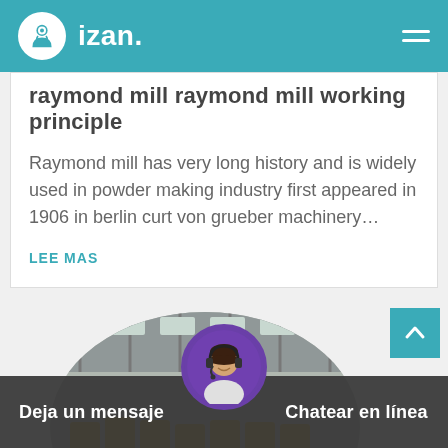izan.
raymond mill raymond mill working principle
Raymond mill has very long history and is widely used in powder making industry first appeared in 1906 in berlin curt von grueber machinery...
LEE MAS
[Figure (photo): Circular cropped photo of an industrial factory interior with yellow machinery along the floor of a large warehouse]
[Figure (photo): Chat support avatar: woman with headset, purple circle background]
Deja un mensaje
Chatear en línea